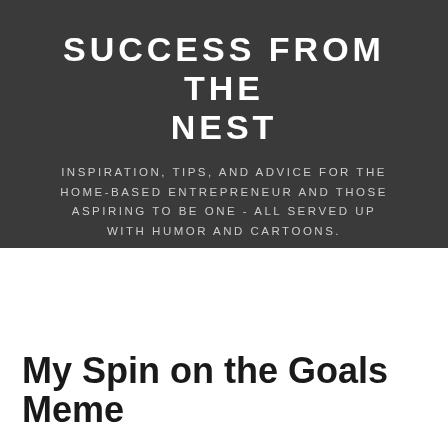SUCCESS FROM THE NEST
INSPIRATION, TIPS, AND ADVICE FOR THE HOME-BASED ENTREPRENEUR AND THOSE ASPIRING TO BE ONE - ALL SERVED UP WITH HUMOR AND CARTOONS.
My Spin on the Goals Meme